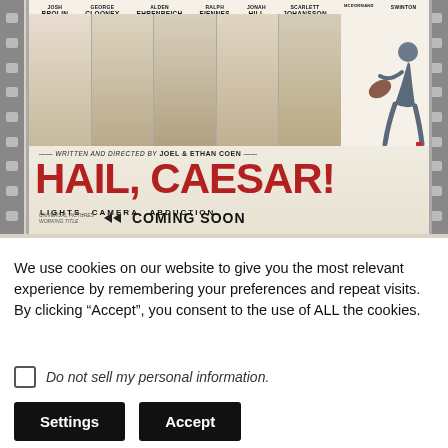[Figure (photo): Movie poster for 'Hail, Caesar!' written and directed by Joel & Ethan Coen. Features actors Josh Brolin, George Clooney, Alden Ehrenreich, Ralph Fiennes, Jonah Hill, Scarlett Johansson, Frances McDormand, Tilda Swinton. Tagline: LIGHTS. CAMERA. ABDUCTION. Coming Soon.]
We use cookies on our website to give you the most relevant experience by remembering your preferences and repeat visits. By clicking “Accept”, you consent to the use of ALL the cookies.
Do not sell my personal information.
Settings   Accept